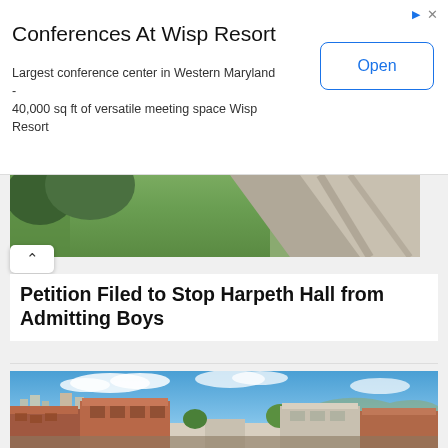[Figure (screenshot): Advertisement banner for Conferences At Wisp Resort with Open button]
Conferences At Wisp Resort
Largest conference center in Western Maryland - 40,000 sq ft of versatile meeting space Wisp Resort
[Figure (photo): Partial top image showing roofline and grass/trees from above]
Petition Filed to Stop Harpeth Hall from Admitting Boys
[Figure (photo): Aerial/elevated photo of a university campus with brick buildings, pedestrian plaza, and city skyline in background under blue sky]